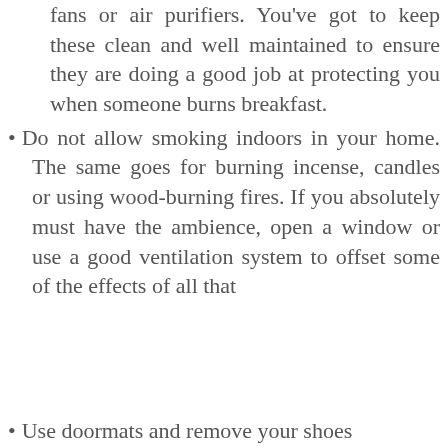fans or air purifiers. You've got to keep these clean and well maintained to ensure they are doing a good job at protecting you when someone burns breakfast.
Do not allow smoking indoors in your home. The same goes for burning incense, candles or using wood-burning fires. If you absolutely must have the ambience, open a window or use a good ventilation system to offset some of the effects of all that
s and certain y might make ome products particles and yourself more
This website uses cookies to ensure you get the best experience on our website.
More info
Cookie settings
ACCEPT
Use doormats and remove your shoes